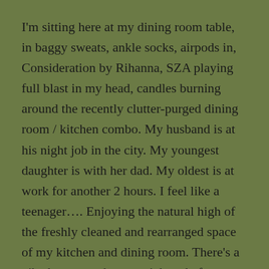I'm sitting here at my dining room table, in baggy sweats, ankle socks, airpods in, Consideration by Rihanna, SZA playing full blast in my head, candles burning around the recently clutter-purged dining room / kitchen combo. My husband is at his night job in the city. My youngest daughter is with her dad. My oldest is at work for another 2 hours. I feel like a teenager…. Enjoying the natural high of the freshly cleaned and rearranged space of my kitchen and dining room. There's a vibe here now that wasn't here before.
Tidying Up by Marie Kondo has taken the insane busy moms by storm. I've felt held down by stuff for years. I watched one episode, handled my clothes, drawers, closet, shoes, purses. Seven bags were bagged up. My husband came home and felt the same drive. He added